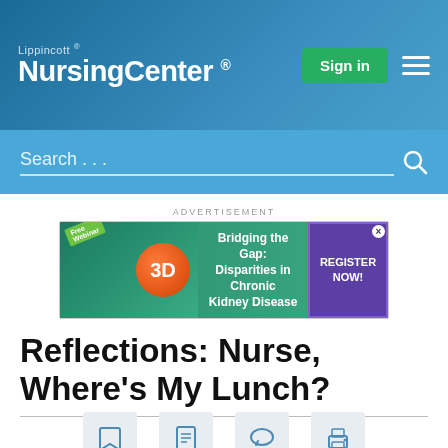Lippincott NursingCenter
Search...
ADVERTISEMENT
[Figure (illustration): Advertisement banner for a free webinar: Bridging the Gap: Disparities in Chronic Kidney Disease, with a Register Now button]
Reflections: Nurse, Where's My Lunch?
[Figure (infographic): Row of four icon buttons: bookmark, PDF, comment, print]